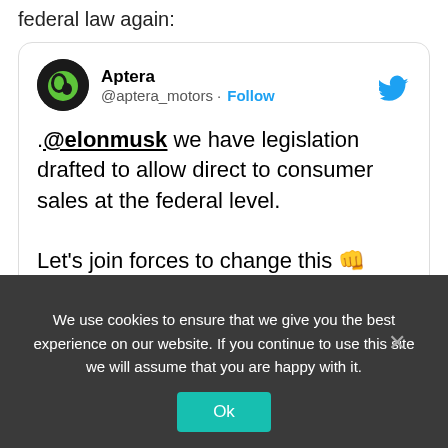federal law again:
[Figure (screenshot): Embedded tweet from Aptera (@aptera_motors) with Follow button and Twitter bird logo. Tweet text: '.@elonmusk we have legislation drafted to allow direct to consumer sales at the federal level. Let's join forces to change this 👊'. Timestamp: 9:42 PM · Apr 21, 2022. Actions: heart 1.3K, Reply, Copy link.]
We use cookies to ensure that we give you the best experience on our website. If you continue to use this site we will assume that you are happy with it.